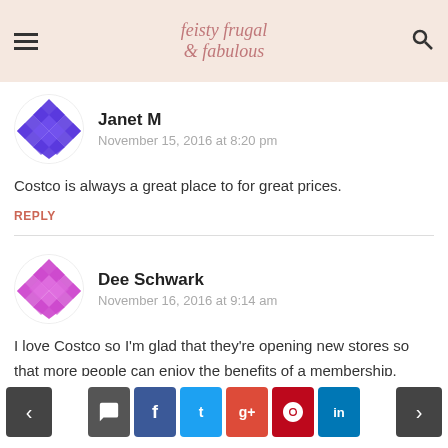feistyfrugalfabulous - navigation header
Janet M
November 15, 2016 at 8:20 pm
Costco is always a great place to for great prices.
REPLY
Dee Schwark
November 16, 2016 at 9:14 am
I love Costco so I'm glad that they're opening new stores so that more people can enjoy the benefits of a membership.
REPLY
Navigation and social share buttons